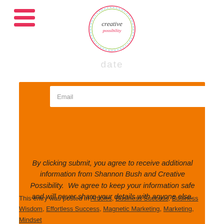[Figure (logo): Creative Possibility circular logo with colorful script text]
Email
Submit
By clicking submit, you agree to receive additional information from Shannon Bush and Creative Possibility.  We agree to keep your information safe and will never share your details with anyone else.
This entry was posted in Articles, Business Success, Business Wisdom, Effortless Success, Magnetic Marketing, Marketing, Mindset